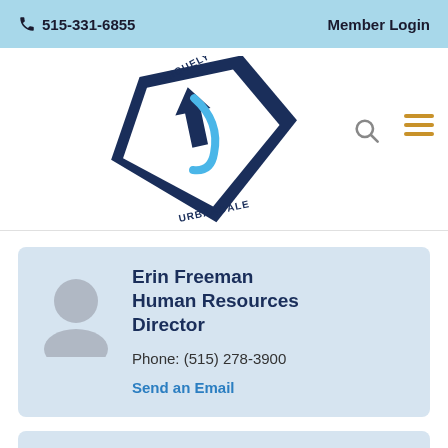📞 515-331-6855    Member Login
[Figure (logo): Uniquely Urbandale logo — diamond shape with UP arrow and stylized U/J letters, text 'UNIQUELY URBANDALE' around the border]
Erin Freeman
Human Resources Director

Phone: (515) 278-3900

Send an Email
Jan Herke
Park and Recreation Director